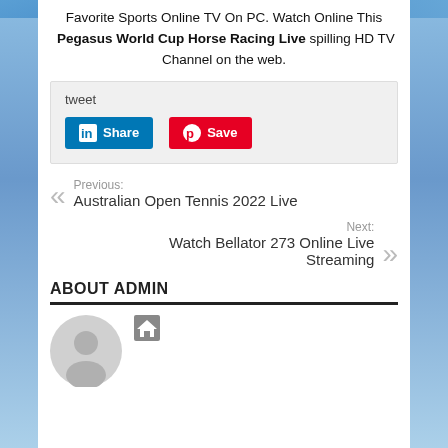Favorite Sports Online TV On PC. Watch Online This Pegasus World Cup Horse Racing Live spilling HD TV Channel on the web.
[Figure (screenshot): Social sharing box with tweet label, LinkedIn Share button and Pinterest Save button on grey background]
Previous: Australian Open Tennis 2022 Live
Next: Watch Bellator 273 Online Live Streaming
ABOUT ADMIN
[Figure (illustration): Generic user avatar circle icon and home icon]